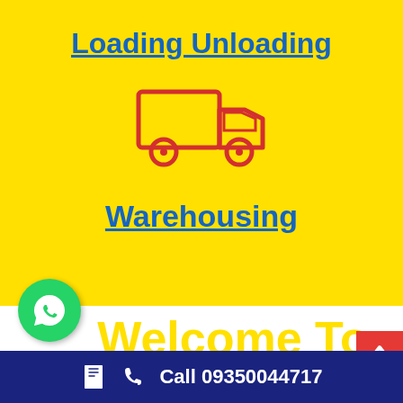Loading Unloading
[Figure (illustration): Red outline truck icon on yellow background]
Warehousing
[Figure (logo): Green WhatsApp icon circle button]
Welcome To
Call 09350044717